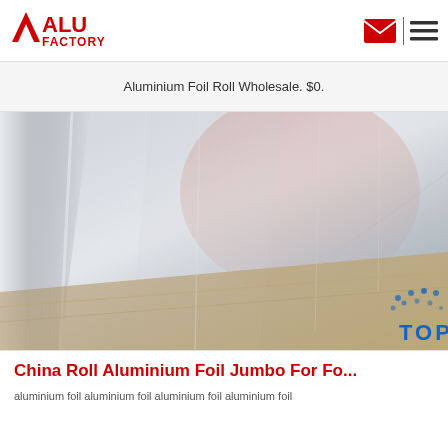[Figure (logo): ALU FACTORY logo — red triangle/chevron icon on left, bold red text 'ALU' large and 'FACTORY' below, with envelope icon and hamburger menu icon on right]
Aluminium Foil Roll Wholesale. $0.
[Figure (photo): Close-up photograph of stacked aluminium foil sheets/rolls showing shiny metallic silver surface with reflections, viewed at an angle. A 'TOP' navigation button with blue dot pattern is overlaid in the bottom-right corner.]
China Roll Aluminium Foil Jumbo For Fo...
aluminium foil aluminium foil aluminium foil aluminium foil